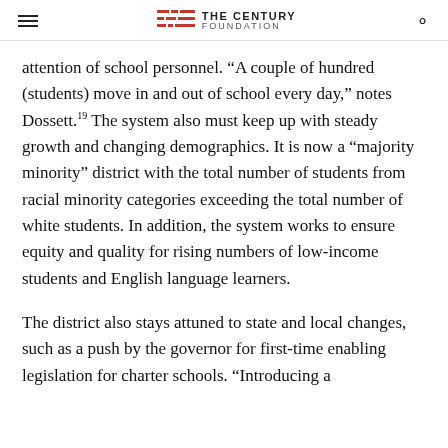THE CENTURY FOUNDATION
attention of school personnel. “A couple of hundred (students) move in and out of school every day,” notes Dossett.¹⁹ The system also must keep up with steady growth and changing demographics. It is now a “majority minority” district with the total number of students from racial minority categories exceeding the total number of white students. In addition, the system works to ensure equity and quality for rising numbers of low-income students and English language learners.
The district also stays attuned to state and local changes, such as a push by the governor for first-time enabling legislation for charter schools. “Introducing a